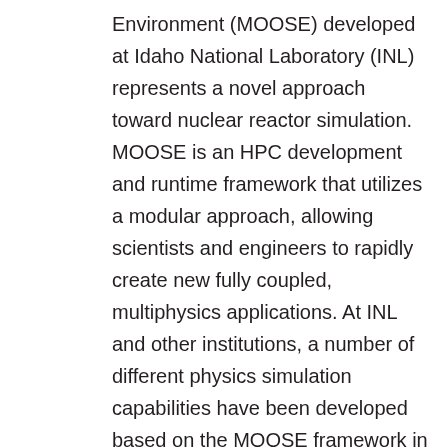Environment (MOOSE) developed at Idaho National Laboratory (INL) represents a novel approach toward nuclear reactor simulation. MOOSE is an HPC development and runtime framework that utilizes a modular approach, allowing scientists and engineers to rapidly create new fully coupled, multiphysics applications. At INL and other institutions, a number of different physics simulation capabilities have been developed based on the MOOSE framework in support of nuclear applications for DOE programs, such as NEAMS, CASL, LWRS, etc. Recent MOOSE framework developments have enabled the efficient combination of multiple, independently developed applications with the goal of achieving massive, multiscale calculations. These developments, which include both a flexible execution strategy and a sophisticated data